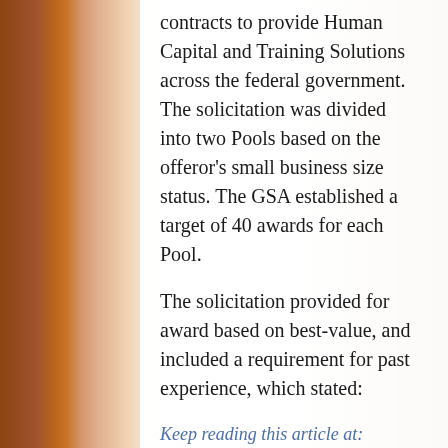contracts to provide Human Capital and Training Solutions across the federal government. The solicitation was divided into two Pools based on the offeror's small business size status. The GSA established a target of 40 awards for each Pool.
The solicitation provided for award based on best-value, and included a requirement for past experience, which stated:
Keep reading this article at: http://smallgovcon.com/gaobidprotests/insufficient-experience-information-sinks-offerors-proposal/